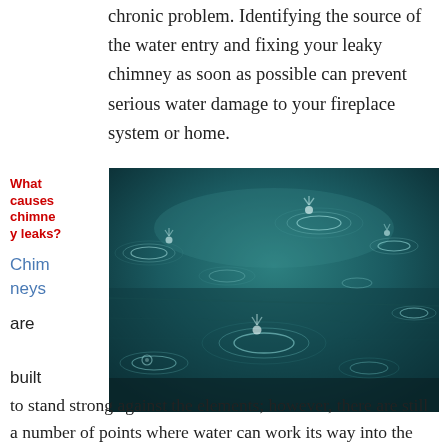chronic problem. Identifying the source of the water entry and fixing your leaky chimney as soon as possible can prevent serious water damage to your fireplace system or home.
What causes chimney leaks?
Chimneys are built to stand strong against the elements; however, there are still a number of points where water can work its way into the chimney system. The following are some of
[Figure (photo): Close-up photo of raindrops falling on a dark teal water surface, creating circular ripples and droplet splashes.]